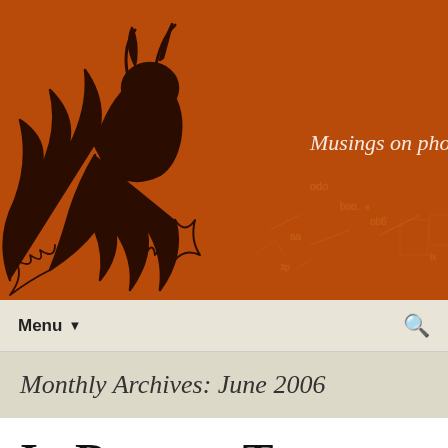[Figure (illustration): Orange/rust-colored blog header banner with a hand-drawn dark creature (demon or dragon figure with horns and claws) on the left side, and faint hand-drawn mathematical/code annotations in the background. Text 'Musings on photog' visible on the right side.]
Menu ▼
Monthly Archives: June 2006
In Dust we Trust